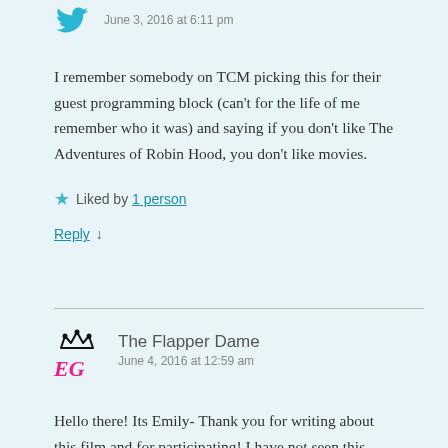June 3, 2016 at 6:11 pm
I remember somebody on TCM picking this for their guest programming block (can't for the life of me remember who it was) and saying if you don't like The Adventures of Robin Hood, you don't like movies.
Liked by 1 person
Reply ↓
The Flapper Dame
June 4, 2016 at 12:59 am
Hello there! Its Emily- Thank you for writing about this film and for participating! I have not seen this film- but now I want to. What a treat it must have been to see a color film back in 1938-